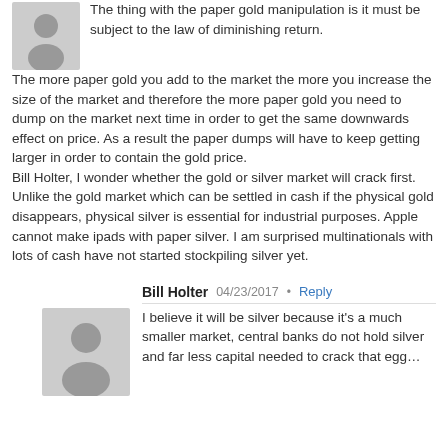The thing with the paper gold manipulation is it must be subject to the law of diminishing return. The more paper gold you add to the market the more you increase the size of the market and therefore the more paper gold you need to dump on the market next time in order to get the same downwards effect on price. As a result the paper dumps will have to keep getting larger in order to contain the gold price. Bill Holter, I wonder whether the gold or silver market will crack first. Unlike the gold market which can be settled in cash if the physical gold disappears, physical silver is essential for industrial purposes. Apple cannot make ipads with paper silver. I am surprised multinationals with lots of cash have not started stockpiling silver yet.
Bill Holter  04/23/2017 • Reply
I believe it will be silver because it's a much smaller market, central banks do not hold silver and far less capital needed to crack that egg...